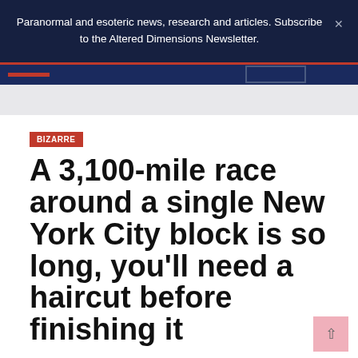Paranormal and esoteric news, research and articles. Subscribe to the Altered Dimensions Newsletter.
A 3,100-mile race around a single New York City block is so long, you'll need a haircut before finishing it